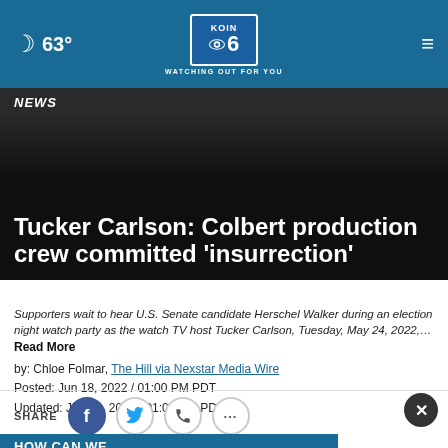63° KOIN 6 CBS — WATCHING OUT FOR YOU
NEWS
Tucker Carlson: Colbert production crew committed 'insurrection'
Supporters wait to hear U.S. Senate candidate Herschel Walker during an election night watch party as the watch TV host Tucker Carlson, Tuesday, May 24, 2022,…
Read More
by: Chloe Folmar, The Hill via Nexstar Media Wire
Posted: Jun 18, 2022 / 01:00 PM PDT
Updated: Jun 18, 2022 / 01:00 PM PDT
[Figure (other): SHARE bar with Facebook, Twitter, and phone icons, plus close button]
[Figure (other): Ad banner: HOW CAN WE MAKE YOU SMILE — A-TEMP logo]